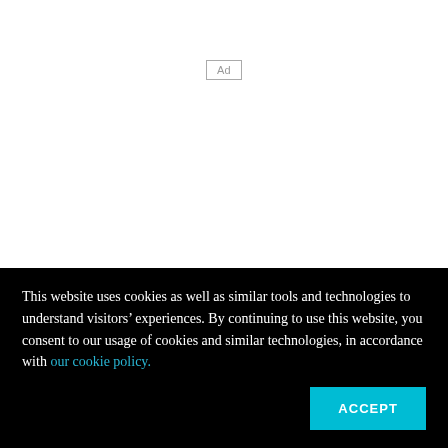[Figure (other): Ad placeholder box with label 'Ad']
That’s Laura Overdeck’s vision. She’s the founder and president of Bedtime Math
This website uses cookies as well as similar tools and technologies to understand visitors’ experiences. By continuing to use this website, you consent to our usage of cookies and similar technologies, in accordance with our cookie policy.
ACCEPT